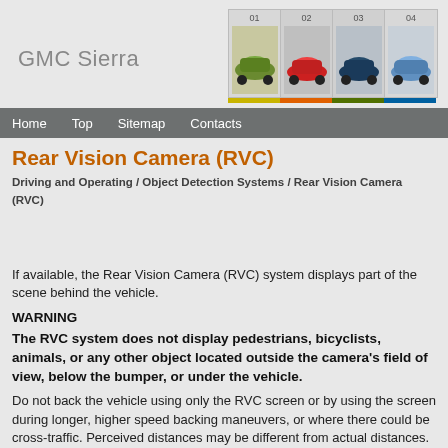GMC Sierra
[Figure (photo): Four car thumbnails numbered 01-04 showing different sports/luxury cars]
Home  Top  Sitemap  Contacts
Rear Vision Camera (RVC)
Driving and Operating / Object Detection Systems / Rear Vision Camera (RVC)
If available, the Rear Vision Camera (RVC) system displays part of the scene behind the vehicle.
WARNING
The RVC system does not display pedestrians, bicyclists, animals, or any other object located outside the camera's field of view, below the bumper, or under the vehicle.
Do not back the vehicle using only the RVC screen or by using the screen during longer, higher speed backing maneuvers, or where there could be cross-traffic. Perceived distances may be different from actual distances.
Failure to use proper care before backing may result in injury, death, or vehicle damage. Always check before backing by checking behind and around the vehicle.